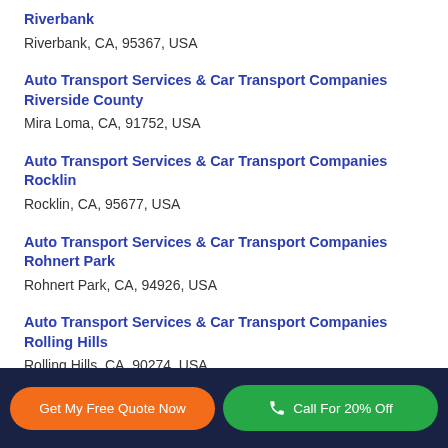Riverbank
Riverbank, CA, 95367, USA
Auto Transport Services & Car Transport Companies Riverside County
Mira Loma, CA, 91752, USA
Auto Transport Services & Car Transport Companies Rocklin
Rocklin, CA, 95677, USA
Auto Transport Services & Car Transport Companies Rohnert Park
Rohnert Park, CA, 94926, USA
Auto Transport Services & Car Transport Companies Rolling Hills
Rolling Hills, CA, 90274, USA
Get My Free Quote Now | Call For 20% Off